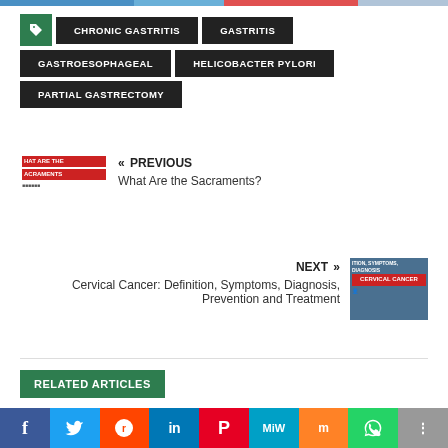top color bar
CHRONIC GASTRITIS
GASTRITIS
GASTROESOPHAGEAL
HELICOBACTER PYLORI
PARTIAL GASTRECTOMY
[Figure (photo): Previous article thumbnail: What Are the Sacraments?]
« PREVIOUS
What Are the Sacraments?
[Figure (photo): Next article thumbnail: Cervical Cancer: Definition, Symptoms, Diagnosis, Prevention and Treatment]
NEXT »
Cervical Cancer: Definition, Symptoms, Diagnosis, Prevention and Treatment
RELATED ARTICLES
Social share bar: Facebook, Twitter, Reddit, LinkedIn, Pinterest, MeWe, Mix, WhatsApp, Share